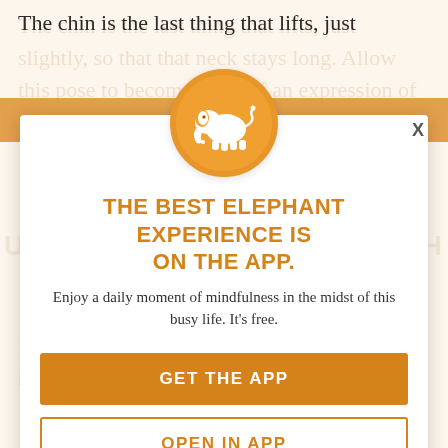The chin is the last thing that lifts, just slightly, so that that neck stays long. Allow this pose to become more of an expression of the heart center, than of the chin.
UNCOVER YOUR YOGA WITH ELEPHANT
[Figure (logo): Orange circle with white elephant silhouette icon]
THE BEST ELEPHANT EXPERIENCE IS ON THE APP.
Enjoy a daily moment of mindfulness in the midst of this busy life. It's free.
GET THE APP
OPEN IN APP
Move with your breaths a few times, and then hold the pose for a few breaths. Slowly...